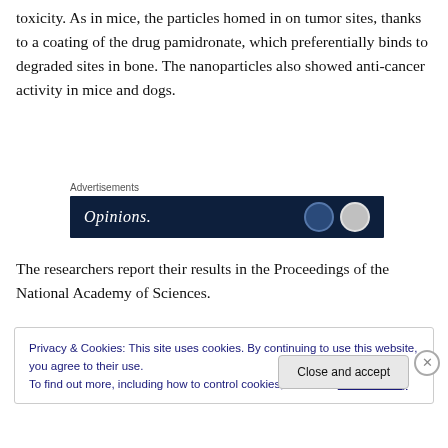toxicity. As in mice, the particles homed in on tumor sites, thanks to a coating of the drug pamidronate, which preferentially binds to degraded sites in bone. The nanoparticles also showed anti-cancer activity in mice and dogs.
[Figure (screenshot): Advertisements banner showing 'Opinions.' text on a dark navy background with circular icons on the right]
The researchers report their results in the Proceedings of the National Academy of Sciences.
Privacy & Cookies: This site uses cookies. By continuing to use this website, you agree to their use.
To find out more, including how to control cookies, see here: Cookie Policy